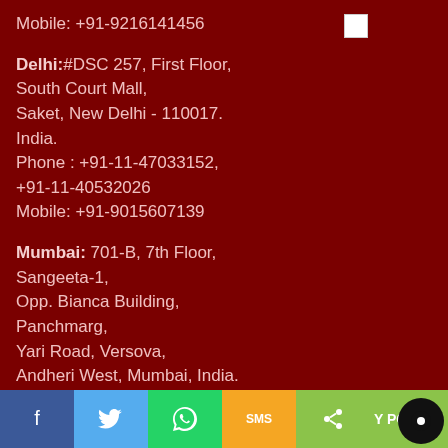Mobile: +91-9216141456
Delhi: #DSC 257, First Floor, South Court Mall, Saket, New Delhi - 110017. India. Phone : +91-11-47033152, +91-11-40532026 Mobile: +91-9015607139
Mumbai: 701-B, 7th Floor, Sangeeta-1, Opp. Bianca Building, Panchmarg, Yari Road, Versova, Andheri West, Mumbai, India. Mobile : +91-9223376963
[Figure (logo): Small broken/loading image icon in top right area]
[Figure (infographic): Social sharing bar at bottom with Facebook, Twitter, WhatsApp, SMS, Share buttons and a chat button, plus partial POLICY text]